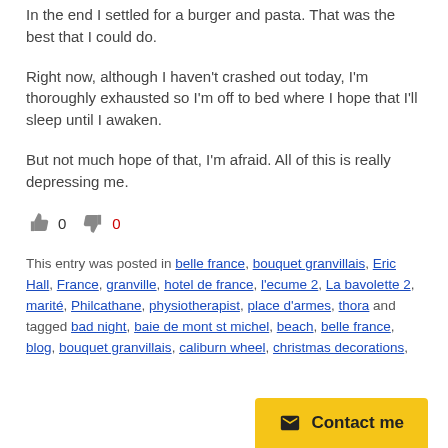In the end I settled for a burger and pasta. That was the best that I could do.
Right now, although I haven't crashed out today, I'm thoroughly exhausted so I'm off to bed where I hope that I'll sleep until I awaken.
But not much hope of that, I'm afraid. All of this is really depressing me.
0   0  (vote thumbs up/down icons)
This entry was posted in belle france, bouquet granvillais, Eric Hall, France, granville, hotel de france, l'ecume 2, La bavolette 2, marité, Philcathane, physiotherapist, place d'armes, thora and tagged bad night, baie de mont st michel, beach, belle france, blog, bouquet granvillais, caliburn wheel, christmas decorations,